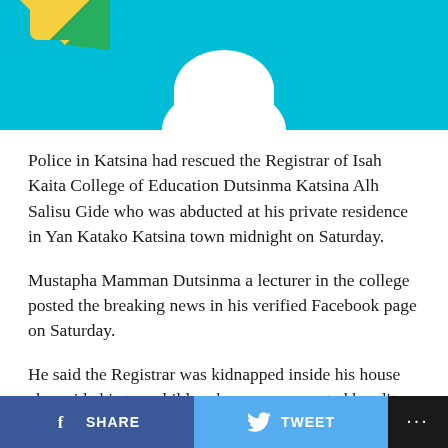[Figure (photo): Cyan/teal colored header image area with partial decorative elements visible — yellow/green triangular shape top-left and white circular shape at bottom center of the image strip.]
Police in Katsina had rescued the Registrar of Isah Kaita College of Education Dutsinma Katsina Alh Salisu Gide who was abducted at his private residence in Yan Katako Katsina town midnight on Saturday.
Mustapha Mamman Dutsinma a lecturer in the college posted the breaking news in his verified Facebook page on Saturday.
He said the Registrar was kidnapped inside his house alongside his two children by some suspected bandits.
But he stated that, police succeeded in rescuing him at around 1:00am on Sunday, even though he did not...
SHARE   TWEET   ...